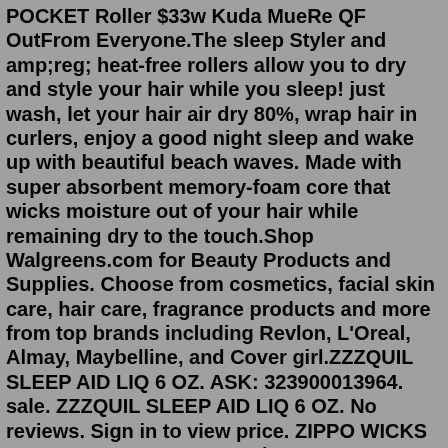POCKET Roller $33w Kuda MueRe QF OutFrom Everyone.The sleep Styler and amp;reg; heat-free rollers allow you to dry and style your hair while you sleep! just wash, let your hair air dry 80%, wrap hair in curlers, enjoy a good night sleep and wake up with beautiful beach waves. Made with super absorbent memory-foam core that wicks moisture out of your hair while remaining dry to the touch.Shop Walgreens.com for Beauty Products and Supplies. Choose from cosmetics, facial skin care, hair care, fragrance products and more from top brands including Revlon, L'Oreal, Almay, Maybelline, and Cover girl.ZZZQUIL SLEEP AID LIQ 6 OZ. ASK: 323900013964. sale. ZZZQUIL SLEEP AID LIQ 6 OZ. No reviews. Sign in to view price. ZIPPO WICKS 24CT. ASK: 0036985005. sale. ZIPPO WICKS 24CT. ... ZIG-ZAG 78MM CIGARETTE ROLLERS 12CT. ASK: 784762990181. sale. ZIG-ZAG 78MM CIGARETTE ROLLERS 12CT. No reviews. Sign in to view price. ZIG-ZAG WHITE PAPER 24 ct. ASK ...Best budget friendly foam roller. Rolling with the